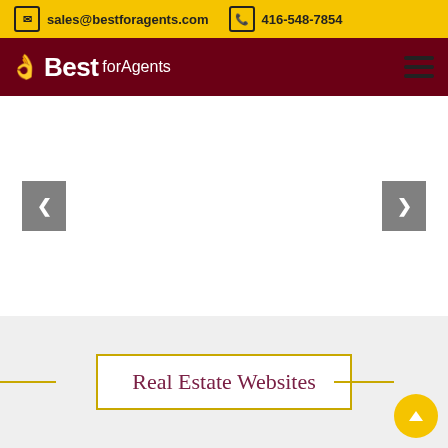sales@bestforagents.com  416-548-7854
[Figure (logo): Best forAgents logo with hand icon on dark red navigation bar with hamburger menu]
[Figure (other): Image slider area with left and right gray navigation arrow buttons on white background]
Real Estate Websites